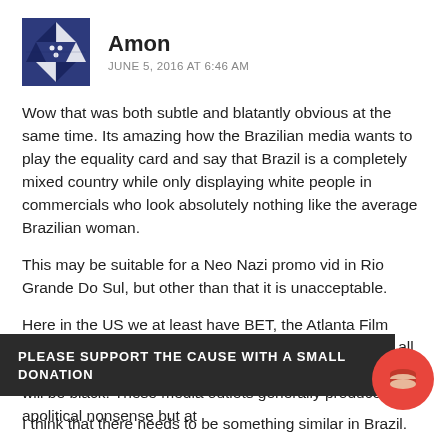[Figure (illustration): Avatar image for user Amon — dark blue geometric/abstract pattern avatar]
Amon
JUNE 5, 2016 AT 6:46 AM
Wow that was both subtle and blatantly obvious at the same time. Its amazing how the Brazilian media wants to play the equality card and say that Brazil is a completely mixed country while only displaying white people in commercials who look absolutely nothing like the average Brazilian woman.
This may be suitable for a Neo Nazi promo vid in Rio Grande Do Sul, but other than that it is unacceptable.
Here in the US we at least have BET, the Atlanta Film Industry, and other local black channels, where almost all of the people that you see in the commercials and on TV will be black. These media outlets generally produce apolitical nonsense but at
PLEASE SUPPORT THE CAUSE WITH A SMALL DONATION
I think that there needs to be something similar in Brazil.